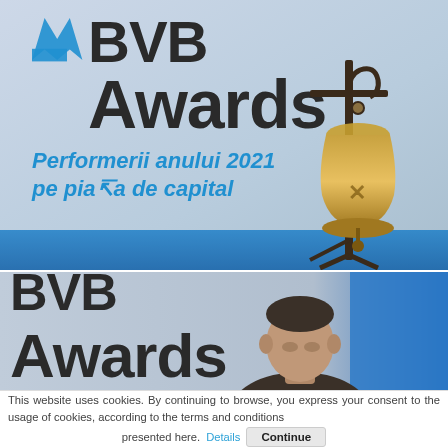[Figure (photo): BVB Awards banner with text 'Performerii anului 2021 pe piata de capital' and a bronze bell on a stand in the foreground, blue and white background]
[Figure (photo): Second photo showing partial BVB Awards text in background with a man's head/face visible in the foreground]
This website uses cookies. By continuing to browse, you express your consent to the usage of cookies, according to the terms and conditions presented here. Details Continue